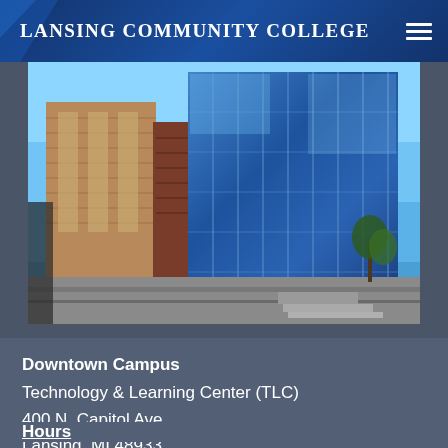Lansing Community College
[Figure (photo): Exterior photo of a modern multi-story building with large glass curtain walls and brick facade, taken from a low angle against a clear blue sky. This is the Technology & Learning Center (TLC) at Lansing Community College's Downtown Campus.]
Downtown Campus
Technology & Learning Center (TLC)
400 N. Capitol Ave.
Lansing, MI 48933
Hours